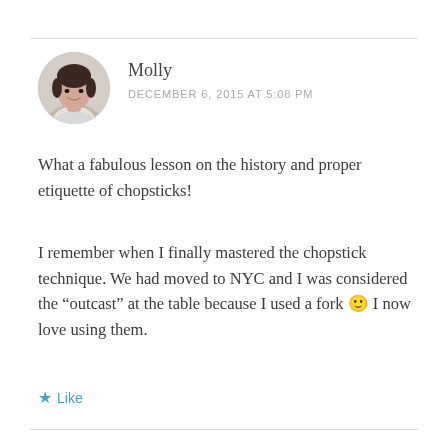[Figure (photo): Circular avatar photo of a woman with short dark hair]
Molly
DECEMBER 6, 2015 AT 5:08 PM
What a fabulous lesson on the history and proper etiquette of chopsticks!
I remember when I finally mastered the chopstick technique. We had moved to NYC and I was considered the “outcast” at the table because I used a fork 🙂 I now love using them.
★ Like